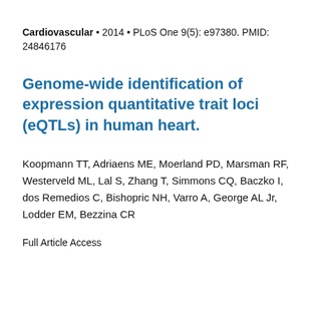Cardiovascular • 2014 • PLoS One 9(5): e97380. PMID: 24846176
Genome-wide identification of expression quantitative trait loci (eQTLs) in human heart.
Koopmann TT, Adriaens ME, Moerland PD, Marsman RF, Westerveld ML, Lal S, Zhang T, Simmons CQ, Baczko I, dos Remedios C, Bishopric NH, Varro A, George AL Jr, Lodder EM, Bezzina CR
Full Article Access